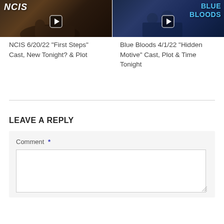[Figure (screenshot): NCIS TV show thumbnail with play button]
[Figure (screenshot): Blue Bloods TV show thumbnail with play button]
NCIS 6/20/22 “First Steps” Cast, New Tonight? & Plot
Blue Bloods 4/1/22 “Hidden Motive” Cast, Plot & Time Tonight
LEAVE A REPLY
Comment *